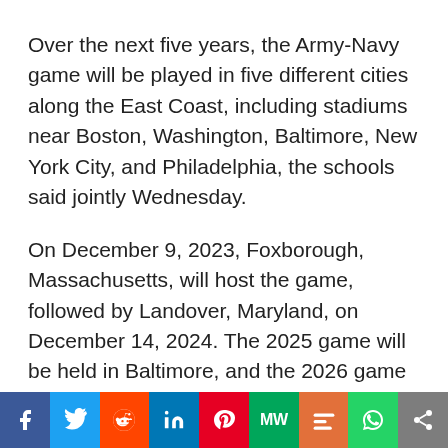Over the next five years, the Army-Navy game will be played in five different cities along the East Coast, including stadiums near Boston, Washington, Baltimore, New York City, and Philadelphia, the schools said jointly Wednesday.
On December 9, 2023, Foxborough, Massachusetts, will host the game, followed by Landover, Maryland, on December 14, 2024. The 2025 game will be held in Baltimore, and the 2026 game will be held on December 12 in East Rutherford, New Jersey. On December 11, 2027, Philadelphia will host. CBS will broadcast all five
[Figure (infographic): Social media sharing toolbar with icons for Facebook (blue), Twitter (light blue), Reddit (orange-red), LinkedIn (dark blue), Pinterest (red), MarketWatch (green), Mix (orange), WhatsApp (green), and a share icon (gray).]